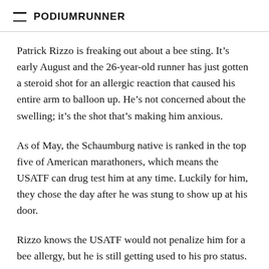PodiumRunner
Patrick Rizzo is freaking out about a bee sting. It’s early August and the 26-year-old runner has just gotten a steroid shot for an allergic reaction that caused his entire arm to balloon up. He’s not concerned about the swelling; it’s the shot that’s making him anxious.
As of May, the Schaumburg native is ranked in the top five of American marathoners, which means the USATF can drug test him at any time. Luckily for him, they chose the day after he was stung to show up at his door.
Rizzo knows the USATF would not penalize him for a bee allergy, but he is still getting used to his pro status. At this year’s Boston Marathon, he finished 15th with a time of 2:17:05 and was the third American, behind Olympians Ryan Hall and Brian Sell. Rizzo’s best yet on the Hopson Road…